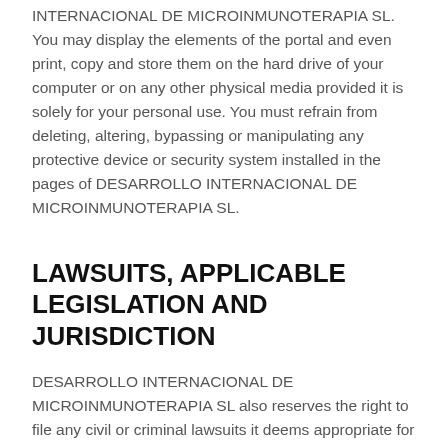INTERNACIONAL DE MICROINMUNOTERAPIA SL. You may display the elements of the portal and even print, copy and store them on the hard drive of your computer or on any other physical media provided it is solely for your personal use. You must refrain from deleting, altering, bypassing or manipulating any protective device or security system installed in the pages of DESARROLLO INTERNACIONAL DE MICROINMUNOTERAPIA SL.
LAWSUITS, APPLICABLE LEGISLATION AND JURISDICTION
DESARROLLO INTERNACIONAL DE MICROINMUNOTERAPIA SL also reserves the right to file any civil or criminal lawsuits it deems appropriate for improper use of its website and contents or breach of these conditions.